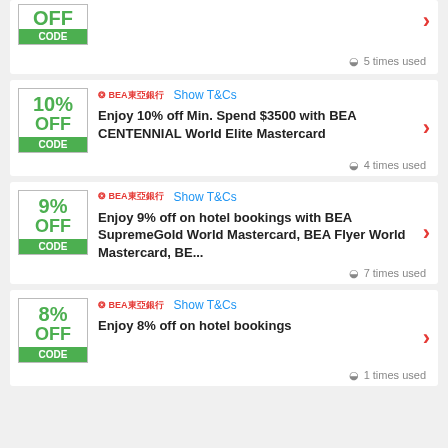[Figure (other): Partial coupon card showing OFF CODE label with green background, BEA bank logo, arrow, and '5 times used' text]
[Figure (other): 10% OFF CODE coupon card with BEA bank logo, Show T&Cs link, offer text for BEA CENTENNIAL World Elite Mastercard, red arrow, 4 times used]
[Figure (other): 9% OFF CODE coupon card with BEA bank logo, Show T&Cs link, offer text for hotel bookings with BEA SupremeGold World Mastercard, red arrow, 7 times used]
[Figure (other): 8% OFF CODE coupon card with BEA bank logo, Show T&Cs link, offer text for hotel bookings, red arrow, 1 times used]